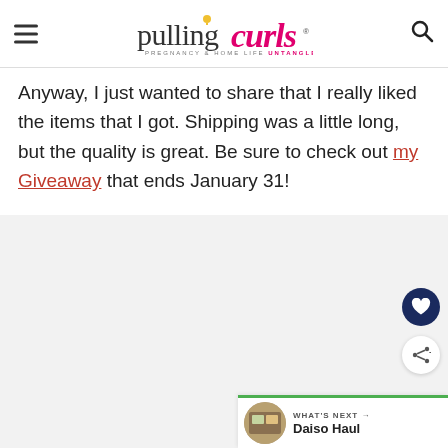Pulling Curls — Pregnancy & Home Life Untangled
Anyway, I just wanted to share that I really liked the items that I got.  Shipping was a little long, but the quality is great.  Be sure to check out my Giveaway that ends January 31!
[Figure (photo): Placeholder image area with light gray background]
WHAT'S NEXT → Daiso Haul